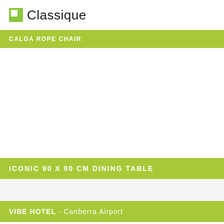[Figure (logo): Classique brand logo with green square icon and word 'Classique' in dark text]
CALGA ROPE CHAIR
[Figure (photo): Large white/empty product photo area for Calga Rope Chair]
ICONIC 90 X 90 CM DINING TABLE
[Figure (photo): Light gray product photo area for Iconic dining table]
VIBE HOTEL - Canberra Airport